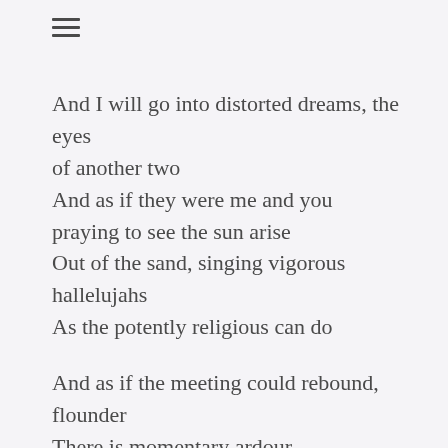[Figure (other): Hamburger menu icon (three horizontal lines)]
And I will go into distorted dreams, the eyes of another two
And as if they were me and you
praying to see the sun arise
Out of the sand, singing vigorous hallelujahs
As the potently religious can do

And as if the meeting could rebound, flounder
There is momentary ardour
In which there is no speech
And as if the sharpened mind grew simple
To the present accent of a dimple
I utter a silent shriek